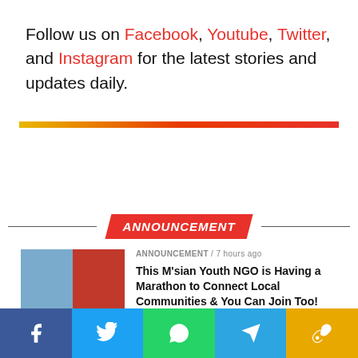Follow us on Facebook, Youtube, Twitter, and Instagram for the latest stories and updates daily.
[Figure (other): Horizontal gradient bar from yellow to red]
ANNOUNCEMENT
[Figure (photo): Thumbnail image showing people and a red car]
ANNOUNCEMENT / 7 hours ago
This M'sian Youth NGO is Having a Marathon to Connect Local Communities & You Can Join Too!
ANNOUNCEMENT / 2 weeks ago
[Figure (other): Social share bar with Facebook, Twitter, WhatsApp, Telegram, and link icons]